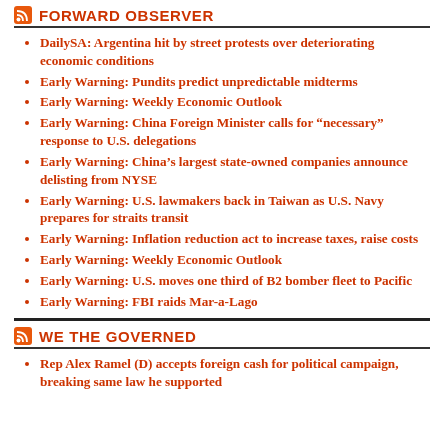FORWARD OBSERVER
DailySA: Argentina hit by street protests over deteriorating economic conditions
Early Warning: Pundits predict unpredictable midterms
Early Warning: Weekly Economic Outlook
Early Warning: China Foreign Minister calls for “necessary” response to U.S. delegations
Early Warning: China’s largest state-owned companies announce delisting from NYSE
Early Warning: U.S. lawmakers back in Taiwan as U.S. Navy prepares for straits transit
Early Warning: Inflation reduction act to increase taxes, raise costs
Early Warning: Weekly Economic Outlook
Early Warning: U.S. moves one third of B2 bomber fleet to Pacific
Early Warning: FBI raids Mar-a-Lago
WE THE GOVERNED
Rep Alex Ramel (D) accepts foreign cash for political campaign, breaking same law he supported